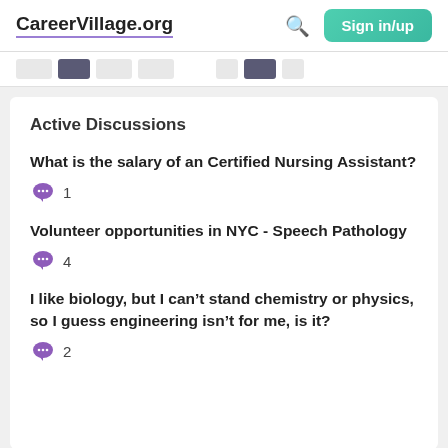CareerVillage.org  Sign in/up
Active Discussions
What is the salary of an Certified Nursing Assistant? — 1 comment
Volunteer opportunities in NYC - Speech Pathology — 4 comments
I like biology, but I can't stand chemistry or physics, so I guess engineering isn't for me, is it? — 2 comments